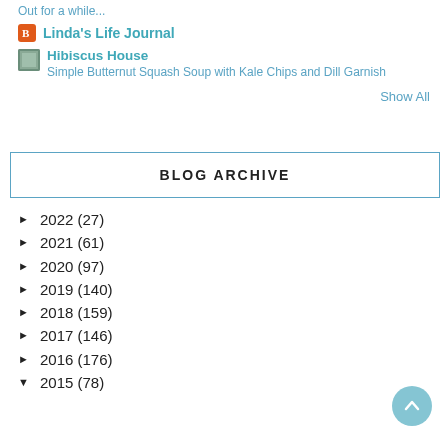Out for a while...
Linda's Life Journal
Hibiscus House
Simple Butternut Squash Soup with Kale Chips and Dill Garnish
Show All
BLOG ARCHIVE
► 2022 (27)
► 2021 (61)
► 2020 (97)
► 2019 (140)
► 2018 (159)
► 2017 (146)
► 2016 (176)
▼ 2015 (78)